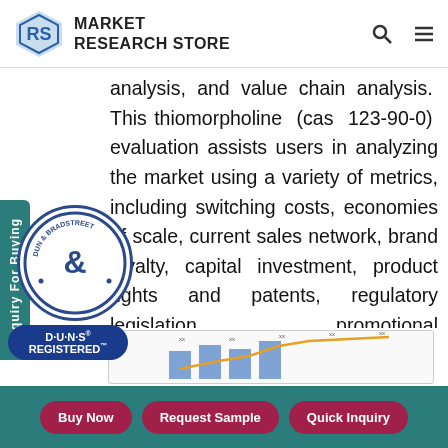Market Research Store
analysis, and value chain analysis. This thiomorpholine (cas 123-90-0) evaluation assists users in analyzing the market using a variety of metrics, including switching costs, economies of scale, current sales network, brand loyalty, capital investment, product rights and patents, regulatory legislation, promotional ts, and customers. It is intended that the ation presented here will assist industry ders in making decisions.
[Figure (other): Partial chart preview at the bottom of the content area]
Buy Now | Request Sample | Quick Inquiry